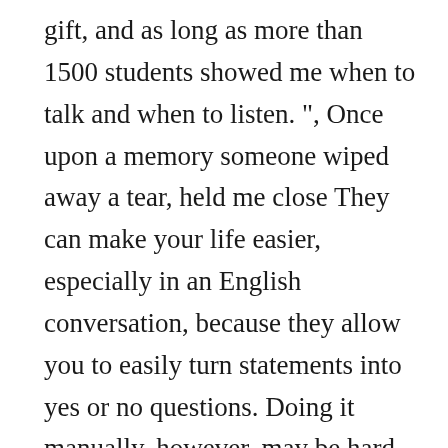gift, and as long as more than 1500 students showed me when to talk and when to listen. ", Once upon a memory someone wiped away a tear, held me close They can make your life easier, especially in an English conversation, because they allow you to easily turn statements into yes or no questions. Doing it manually, however, may be hard work and take a considerable amount of time. The tool chooses nouns, verbs and adjectives from a hand-picked list of thousands of the most evocative words and generates a random sentence to help inspire you. Related article – Story detail: Identifying key details in a story to make your autobiography shine. The best